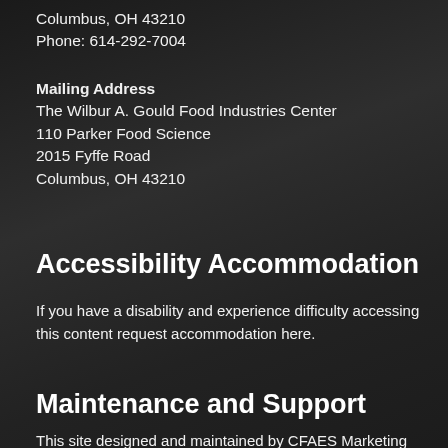Columbus, OH 43210
Phone: 614-292-7004
Mailing Address
The Wilbur A. Gould Food Industries Center
110 Parker Food Science
2015 Fyffe Road
Columbus, OH 43210
Accessibility Accommodation
If you have a disability and experience difficulty accessing this content request accommodation here.
Maintenance and Support
This site designed and maintained by CFAES Marketing and Communications. For technical